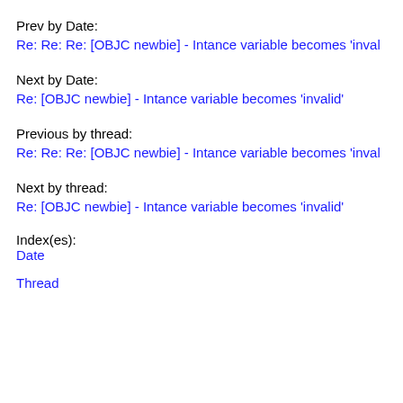Prev by Date:
Re: Re: Re: [OBJC newbie] - Intance variable becomes 'inval
Next by Date:
Re: [OBJC newbie] - Intance variable becomes 'invalid'
Previous by thread:
Re: Re: Re: [OBJC newbie] - Intance variable becomes 'inval
Next by thread:
Re: [OBJC newbie] - Intance variable becomes 'invalid'
Index(es):
Date
Thread